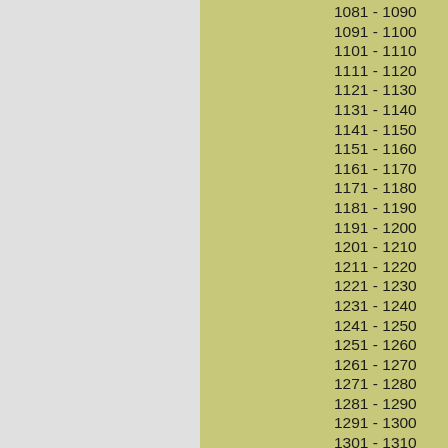1081 - 1090
1091 - 1100
1101 - 1110
1111 - 1120
1121 - 1130
1131 - 1140
1141 - 1150
1151 - 1160
1161 - 1170
1171 - 1180
1181 - 1190
1191 - 1200
1201 - 1210
1211 - 1220
1221 - 1230
1231 - 1240
1241 - 1250
1251 - 1260
1261 - 1270
1271 - 1280
1281 - 1290
1291 - 1300
1301 - 1310
1311 - 1320
1321 - 1330